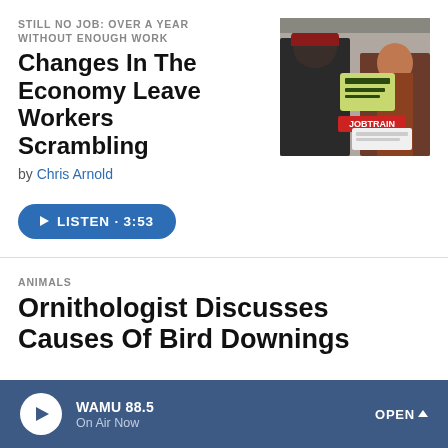STILL NO JOB: OVER A YEAR WITHOUT ENOUGH WORK
Changes In The Economy Leave Workers Scrambling
by Chris Arnold
[Figure (photo): Photo of people at a job training center with Jobtrain brochures and pamphlets visible]
LISTEN · 3:53
ANIMALS
Ornithologist Discusses Causes Of Bird Downings
WAMU 88.5 On Air Now OPEN ^